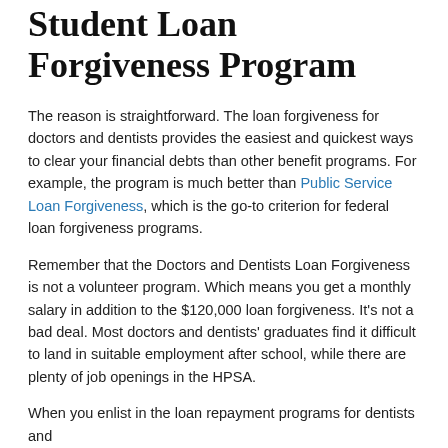Student Loan Forgiveness Program
The reason is straightforward. The loan forgiveness for doctors and dentists provides the easiest and quickest ways to clear your financial debts than other benefit programs. For example, the program is much better than Public Service Loan Forgiveness, which is the go-to criterion for federal loan forgiveness programs.
Remember that the Doctors and Dentists Loan Forgiveness is not a volunteer program. Which means you get a monthly salary in addition to the $120,000 loan forgiveness. It's not a bad deal. Most doctors and dentists' graduates find it difficult to land in suitable employment after school, while there are plenty of job openings in the HPSA.
When you enlist in the loan repayment programs for dentists and